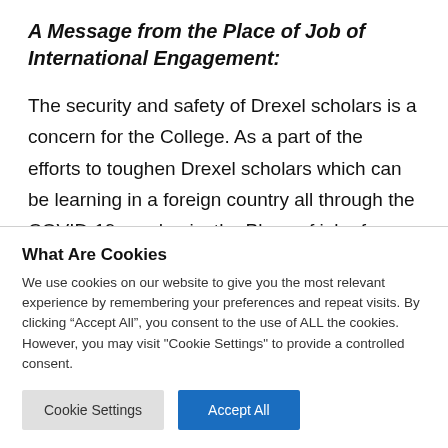A Message from the Place of Job of International Engagement:
The security and safety of Drexel scholars is a concern for the College. As a part of the efforts to toughen Drexel scholars which can be learning in a foreign country all through the COVID-19 pandemic, the Place of job of International
What Are Cookies
We use cookies on our website to give you the most relevant experience by remembering your preferences and repeat visits. By clicking “Accept All”, you consent to the use of ALL the cookies. However, you may visit "Cookie Settings" to provide a controlled consent.